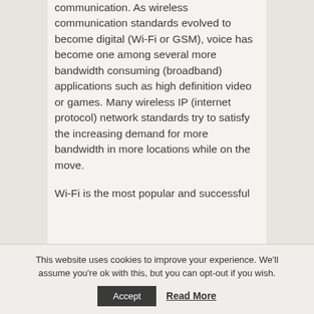communication. As wireless communication standards evolved to become digital (Wi-Fi or GSM), voice has become one among several more bandwidth consuming (broadband) applications such as high definition video or games. Many wireless IP (internet protocol) network standards try to satisfy the increasing demand for more bandwidth in more locations while on the move.
Wi-Fi is the most popular and successful
This website uses cookies to improve your experience. We'll assume you're ok with this, but you can opt-out if you wish.